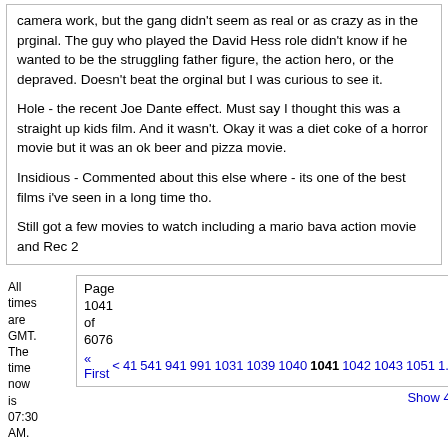camera work, but the gang didn't seem as real or as crazy as in the prginal. The guy who played the David Hess role didn't know if he wanted to be the struggling father figure, the action hero, or the depraved. Doesn't beat the orginal but I was curious to see it.

Hole - the recent Joe Dante effect. Must say I thought this was a straight up kids film. And it wasn't. Okay it was a diet coke of a horror movie but it was an ok beer and pizza movie.

Insidious - Commented about this else where - its one of the best films i've seen in a long time tho.

Still got a few movies to watch including a mario bava action movie and Rec 2
All times are GMT. The time now is 07:30 AM.
Page 1041 of 6076
« First  <  41  541  941  991  1031  1039  1040  1041  1042  1043  1051  1...
Show 40
Powered by vBulletin® Version 3.8.8
Copyright ©2000 - 2022, vBulletin Solutions, Inc.
Search Engine Optimization by vBSEO 3.6.0 PL2
Copyright © 2014 Cult Laboratories Ltd. All rights reserved.